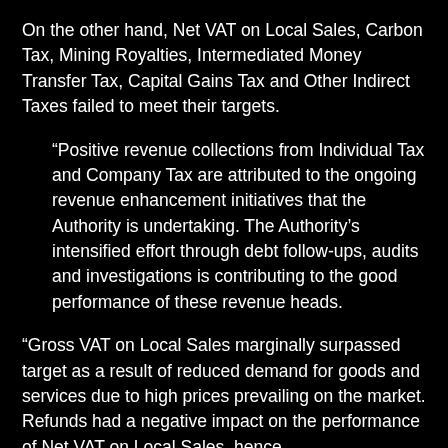On the other hand, Net VAT on Local Sales, Carbon Tax, Mining Royalties, Intermediated Money Transfer Tax, Capital Gains Tax and Other Indirect Taxes failed to meet their targets.
“Positive revenue collections from Individual Tax and Company Tax are attributed to the ongoing revenue enhancement initiatives that the Authority is undertaking. The Authority’s intensified effort through debt follow-ups, audits and investigations is contributing to the good performance of these revenue heads.
“Gross VAT on Local Sales marginally surpassed target as a result of reduced demand for goods and services due to high prices prevailing on the market. Refunds had a negative impact on the performance of Net VAT on Local Sales, hence